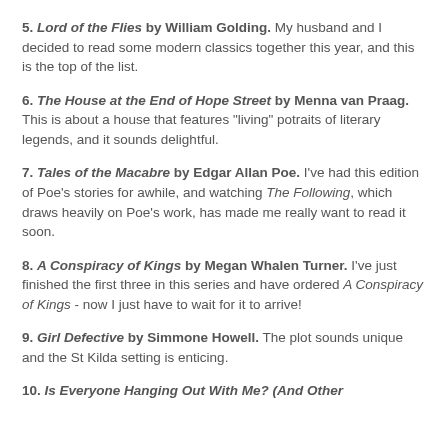5. Lord of the Flies by William Golding. My husband and I decided to read some modern classics together this year, and this is the top of the list.
6. The House at the End of Hope Street by Menna van Praag. This is about a house that features "living" potraits of literary legends, and it sounds delightful.
7. Tales of the Macabre by Edgar Allan Poe. I've had this edition of Poe's stories for awhile, and watching The Following, which draws heavily on Poe's work, has made me really want to read it soon.
8. A Conspiracy of Kings by Megan Whalen Turner. I've just finished the first three in this series and have ordered A Conspiracy of Kings - now I just have to wait for it to arrive!
9. Girl Defective by Simmone Howell. The plot sounds unique and the St Kilda setting is enticing.
10. Is Everyone Hanging Out With Me? (And Other